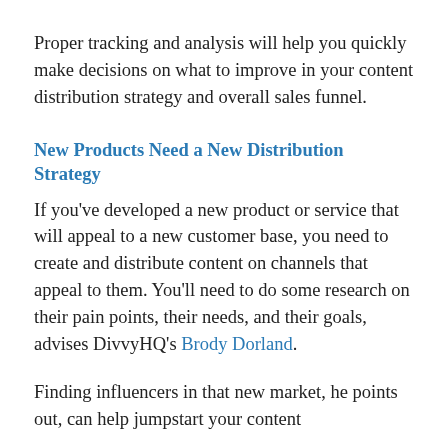Proper tracking and analysis will help you quickly make decisions on what to improve in your content distribution strategy and overall sales funnel.
New Products Need a New Distribution Strategy
If you've developed a new product or service that will appeal to a new customer base, you need to create and distribute content on channels that appeal to them. You'll need to do some research on their pain points, their needs, and their goals, advises DivvyHQ's Brody Dorland.
Finding influencers in that new market, he points out, can help jumpstart your content